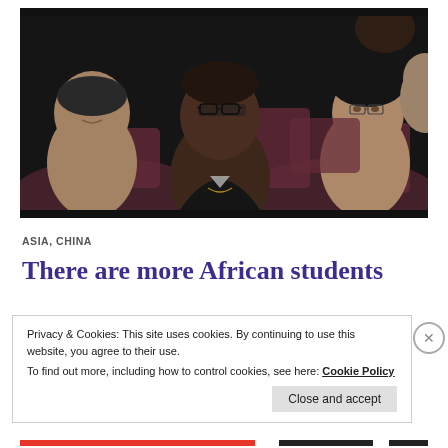[Figure (photo): A photograph of a diverse group of students sitting in an auditorium or lecture hall. A Black male student wearing glasses is prominent in the center; Asian students are visible on the left and right. Seats are dark red/maroon. Lighting is dim.]
ASIA, CHINA
There are more African students
Privacy & Cookies: This site uses cookies. By continuing to use this website, you agree to their use.
To find out more, including how to control cookies, see here: Cookie Policy
Close and accept